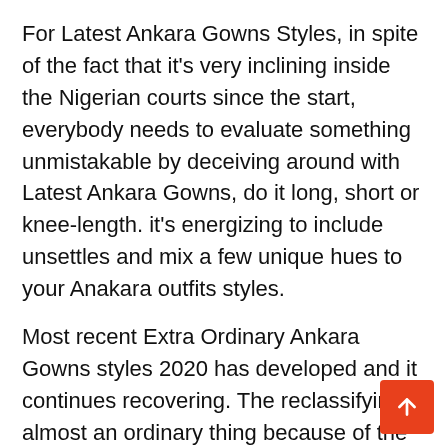For Latest Ankara Gowns Styles, in spite of the fact that it's very inclining inside the Nigerian courts since the start, everybody needs to evaluate something unmistakable by deceiving around with Latest Ankara Gowns, do it long, short or knee-length. it's energizing to include unsettles and mix a few unique hues to your Anakara outfits styles.
Most recent Extra Ordinary Ankara Gowns styles 2020 has developed and it continues recovering. The reclassifying is almost an ordinary thing because of the inventive ways it being styled by the fashionistas.
In the present Designs, you'll be excited and